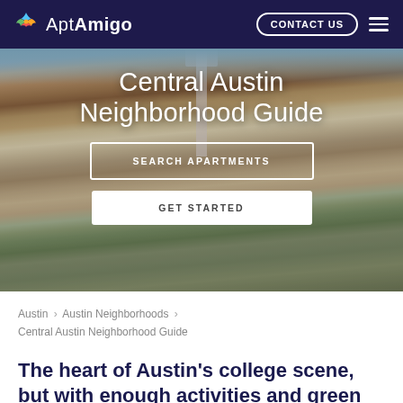AptAmigo  |  CONTACT US
[Figure (photo): Aerial photo of Central Austin / UT Austin campus with red-tiled rooftops, a tall tower, green trees, and blue sky]
Central Austin Neighborhood Guide
SEARCH APARTMENTS
GET STARTED
Austin > Austin Neighborhoods > Central Austin Neighborhood Guide
The heart of Austin's college scene, but with enough activities and green